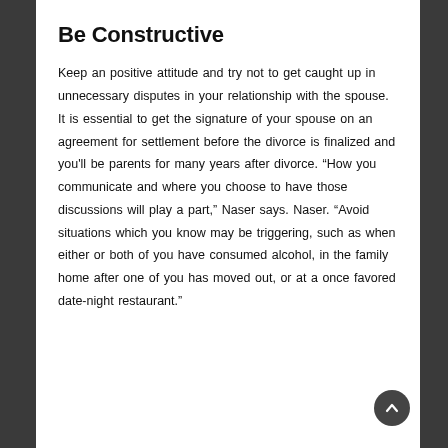Be Constructive
Keep an positive attitude and try not to get caught up in unnecessary disputes in your relationship with the spouse. It is essential to get the signature of your spouse on an agreement for settlement before the divorce is finalized and you'll be parents for many years after divorce. “How you communicate and where you choose to have those discussions will play a part,” Naser says. Naser. “Avoid situations which you know may be triggering, such as when either or both of you have consumed alcohol, in the family home after one of you has moved out, or at a once favored date-night restaurant.”